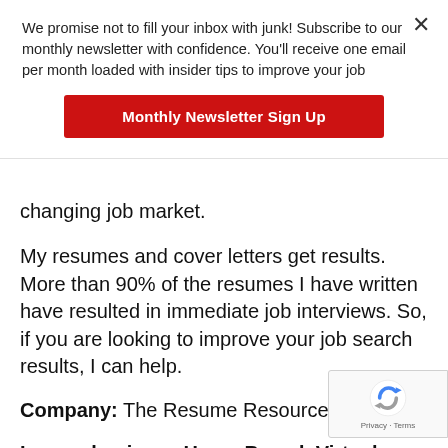We promise not to fill your inbox with junk! Subscribe to our monthly newsletter with confidence. You'll receive one email per month loaded with insider tips to improve your job
Monthly Newsletter Sign Up
changing job market.
My resumes and cover letters get results. More than 90% of the resumes I have written have resulted in immediate job interviews. So, if you are looking to improve your job search results, I can help.
Company:  The Resume Resource
Is your business Home Based, Virtual, and Brick & Mortar?
[Figure (logo): reCAPTCHA logo with Privacy and Terms text]